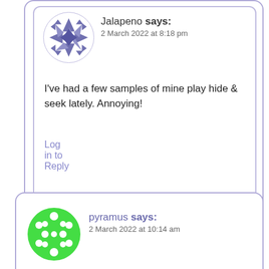Jalapeno says:
2 March 2022 at 8:18 pm
I've had a few samples of mine play hide & seek lately. Annoying!
Log in to Reply
pyramus says:
2 March 2022 at 10:14 am
Late-nineties Guerlain Samsara. Sometimes I forget how genuinely great this is, for all its apparent simplicity.
Log in to Reply